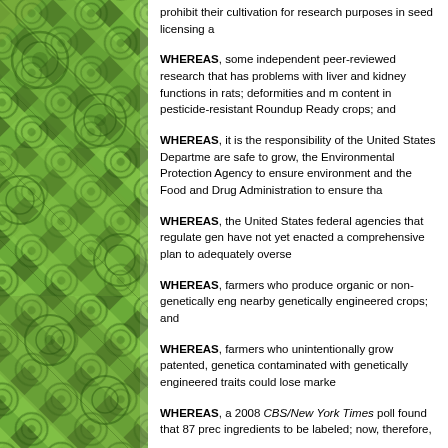[Figure (photo): Aerial photograph of agricultural fields showing circular irrigation patterns in green, arranged in a diagonal patchwork pattern forming the left sidebar of the document page.]
prohibit their cultivation for research purposes in seed licensing a...
WHEREAS, some independent peer-reviewed research that has problems with liver and kidney functions in rats; deformities and m... content in pesticide-resistant Roundup Ready crops; and
WHEREAS, it is the responsibility of the United States Department... are safe to grow, the Environmental Protection Agency to ensure... environment and the Food and Drug Administration to ensure tha...
WHEREAS, the United States federal agencies that regulate gen... have not yet enacted a comprehensive plan to adequately overse...
WHEREAS, farmers who produce organic or non-genetically eng... nearby genetically engineered crops; and
WHEREAS, farmers who unintentionally grow patented, genetica... contaminated with genetically engineered traits could lose marke...
WHEREAS, a 2008 CBS/New York Times poll found that 87 prec... ingredients to be labeled; now, therefore,
BE IT RESOLVED, that the Council of the City of Cincinnati, State...